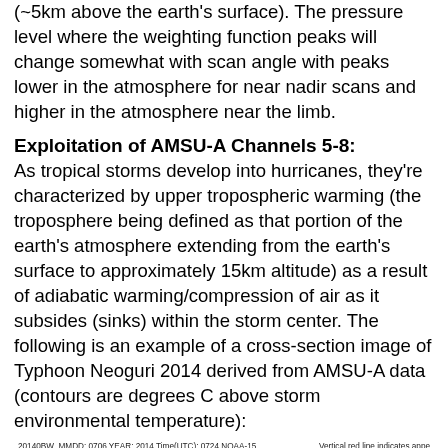(~5km above the earth's surface). The pressure level where the weighting function peaks will change somewhat with scan angle with peaks lower in the atmosphere for near nadir scans and higher in the atmosphere near the limb.
Exploitation of AMSU-A Channels 5-8:
As tropical storms develop into hurricanes, they're characterized by upper tropospheric warming (the troposphere being defined as that portion of the earth's atmosphere extending from the earth's surface to approximately 15km altitude) as a result of adiabatic warming/compression of air as it subsides (sinks) within the storm center. The following is an example of a cross-section image of Typhoon Neoguri 2014 derived from AMSU-A data (contours are degrees C above storm environmental temperature):
[Figure (other): Cross-section contour image of Typhoon Neoguri 2014 derived from AMSU-A data. Shows brightness temperature anomaly (storm center minus environment) with colored contours. Title: 20140BW MMDD: 0706 YEAR: 2014 Time(UTC): 0724 NOAA-15. AMSU-A Brightness Temperature Anomaly (Storm Center-Environment). Vertical red line indicates approximate storm center. Y-axis starts at 100. Color range from cyan/blue (cool) through green, yellow, orange, red (warm) in center.]